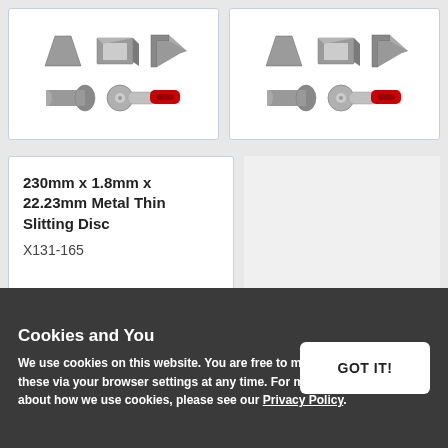[Figure (illustration): Product card showing metal profiles (trapezoid flashing, square tube, angle bracket) and a metal slitting disc on an angle grinder - left card]
[Figure (illustration): Product card showing same metal profiles and slitting disc on angle grinder - right card (duplicate/related product)]
230mm x 1.8mm x 22.23mm Metal Thin Slitting Disc
X131-165
Cookies and You
We use cookies on this website. You are free to manage these via your browser settings at any time. For more about how we use cookies, please see our Privacy Policy.